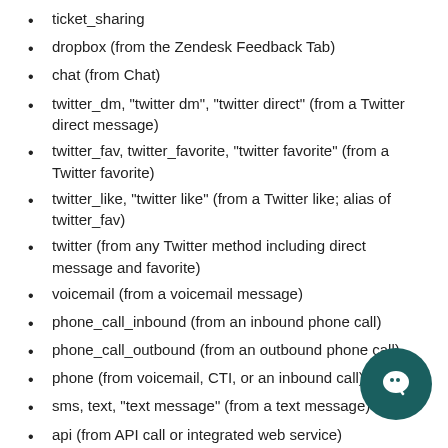ticket_sharing
dropbox (from the Zendesk Feedback Tab)
chat (from Chat)
twitter_dm, "twitter dm", "twitter direct" (from a Twitter direct message)
twitter_fav, twitter_favorite, "twitter favorite" (from a Twitter favorite)
twitter_like, "twitter like" (from a Twitter like; alias of twitter_fav)
twitter (from any Twitter method including direct message and favorite)
voicemail (from a voicemail message)
phone_call_inbound (from an inbound phone call)
phone_call_outbound (from an outbound phone call)
phone (from voicemail, CTI, or an inbound call)
sms, text, "text message" (from a text message)
api (from API call or integrated web service)
logmein, logmein_rescue, "logmein rescue" (from LogMeIn)
facebook_post, "facebook post" (from a Facebook post to a page)
facebook_message, "facebook message" (from a